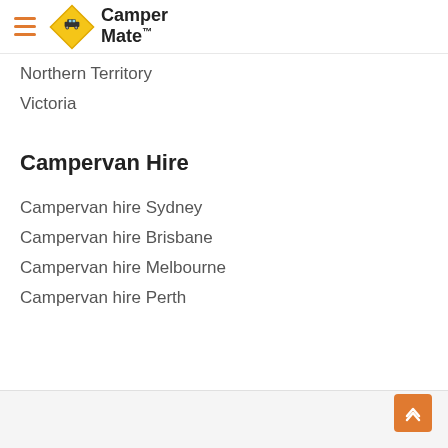CamperMate
Northern Territory
Victoria
Campervan Hire
Campervan hire Sydney
Campervan hire Brisbane
Campervan hire Melbourne
Campervan hire Perth